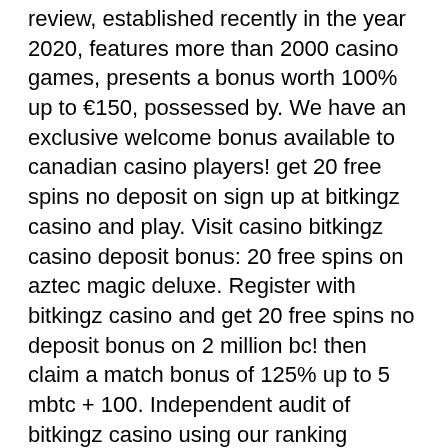review, established recently in the year 2020, features more than 2000 casino games, presents a bonus worth 100% up to €150, possessed by. We have an exclusive welcome bonus available to canadian casino players! get 20 free spins no deposit on sign up at bitkingz casino and play. Visit casino bitkingz casino deposit bonus: 20 free spins on aztec magic deluxe. Register with bitkingz casino and get 20 free spins no deposit bonus on 2 million bc! then claim a match bonus of 125% up to 5 mbtc + 100. Independent audit of bitkingz casino using our ranking algorithm. Read players own experiences with bitkingz casino no deposit bonus. Bitkingz no deposit bonus. We got 20 free spins on our link for every new customer! (may vary by country) claim bonus here
If slot games are what you enjoy playing, then you have come to the right place, bitkingz casino no deposit codes...